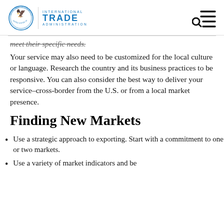International Trade Administration
meet their specific needs.
Your service may also need to be customized for the local culture or language. Research the country and its business practices to be responsive. You can also consider the best way to deliver your service–cross-border from the U.S. or from a local market presence.
Finding New Markets
Use a strategic approach to exporting. Start with a commitment to one or two markets.
Use a variety of market indicators and be